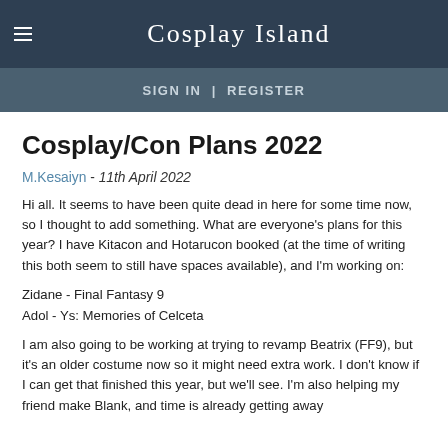Cosplay Island
SIGN IN | REGISTER
Cosplay/Con Plans 2022
M.Kesaiyn - 11th April 2022
Hi all. It seems to have been quite dead in here for some time now, so I thought to add something. What are everyone's plans for this year? I have Kitacon and Hotarucon booked (at the time of writing this both seem to still have spaces available), and I'm working on:
Zidane - Final Fantasy 9
Adol - Ys: Memories of Celceta
I am also going to be working at trying to revamp Beatrix (FF9), but it's an older costume now so it might need extra work. I don't know if I can get that finished this year, but we'll see. I'm also helping my friend make Blank, and time is already getting away